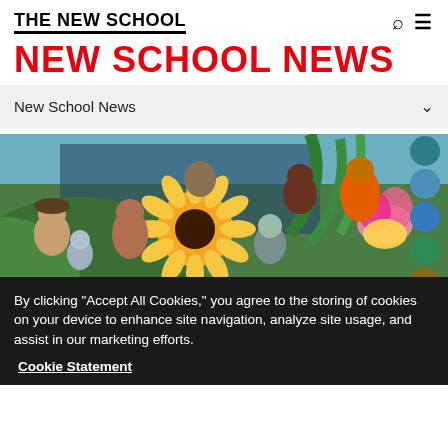THE NEW SCHOOL
NEW SCHOOL NEWS
New School News
[Figure (photo): Composite colorful image featuring multiple people of diverse backgrounds with a sunflower, lotus flower, and tropical plants in the background]
By clicking “Accept All Cookies,” you agree to the storing of cookies on your device to enhance site navigation, analyze site usage, and assist in our marketing efforts.
Cookie Statement